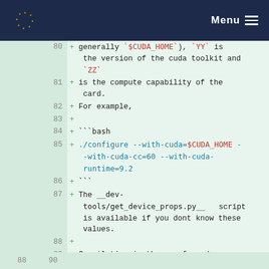Menu
[Figure (screenshot): Code diff view showing lines 80-89 of a file, with additions marked by + signs. Content describes CUDA configuration options including $CUDA_HOME, YY (cuda toolkit version), ZZ (compute capability), example bash command with --with-cuda, --with-cuda-cc=60, --with-cuda-runtime=9.2, and mention of __dev-tools/get_device_props.py__ script.]